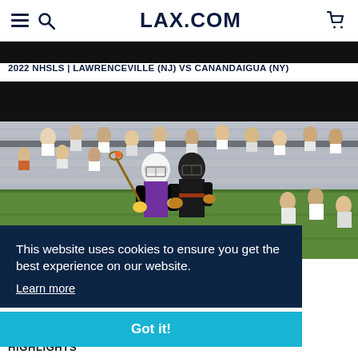LAX.COM
2022 NHSLS | LAWRENCEVILLE (NJ) VS CANANDAIGUA (NY)
[Figure (photo): Lacrosse game photo showing players in action during 2022 NHSLS game, Lawrenceville (NJ) vs Canandaigua (NY), with stadium bleachers in background. Player in white helmet and purple jersey vs player in black uniform.]
This website uses cookies to ensure you get the best experience on our website.
Learn more
Got it!
HIGHLIGHTS